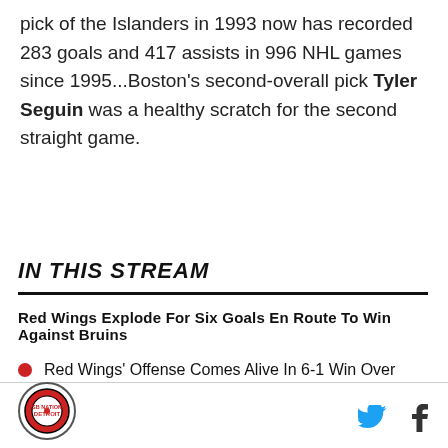pick of the Islanders in 1993 now has recorded 283 goals and 417 assists in 996 NHL games since 1995...Boston's second-overall pick Tyler Seguin was a healthy scratch for the second straight game.
IN THIS STREAM
Red Wings Explode For Six Goals En Route To Win Against Bruins
Red Wings' Offense Comes Alive In 6-1 Win Over Bruins
Red Wings Search For Offense In Original 6 Matchup With Boston
VIEW ALL 2 STORIES
SB Nation Detroit logo, Twitter icon, Facebook icon